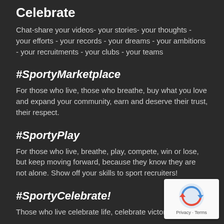Celebrate
Chat-share your videos- your stories- your thoughts - your efforts - your records - your dreams - your ambitions - your recruitments - your clubs - your teams
#SportyMarketplace
For those who live, those who breathe, buy what you love and expand your community, earn and deserve their trust, their respect.
#SportyPlay
For those who live, breathe, play, compete, win or lose, but keep moving forward, because they know they are not alone. Show off your skills to sport recruiters!
#SportyCelebrate!
Those who live celebrate life, celebrate victories, also
[Figure (logo): reCAPTCHA logo with Privacy and Terms text]